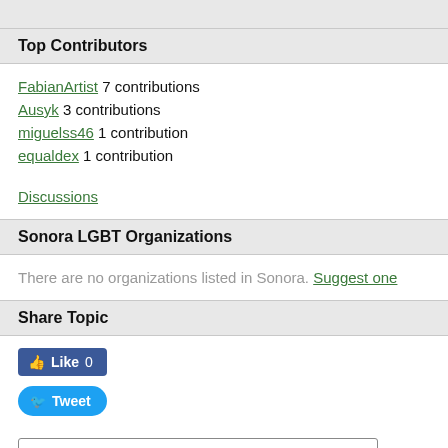Top Contributors
FabianArtist 7 contributions
Ausyk 3 contributions
miguelss46 1 contribution
equaldex 1 contribution
Discussions
Sonora LGBT Organizations
There are no organizations listed in Sonora. Suggest one
Share Topic
[Figure (screenshot): Facebook Like button showing 'Like 0', Twitter Tweet button, and embed code input field with HTML anchor tag for equaldex sonora region]
[Figure (illustration): Partial map or geographic illustration at bottom of page]